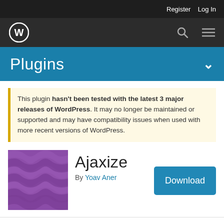Register   Log In
[Figure (logo): WordPress logo (W in circle) on dark nav bar with search and menu icons]
Plugins
This plugin hasn't been tested with the latest 3 major releases of WordPress. It may no longer be maintained or supported and may have compatibility issues when used with more recent versions of WordPress.
[Figure (illustration): Ajaxize plugin icon — purple background with wavy ribbon pattern]
Ajaxize
By Yoav Aner
Download
Details